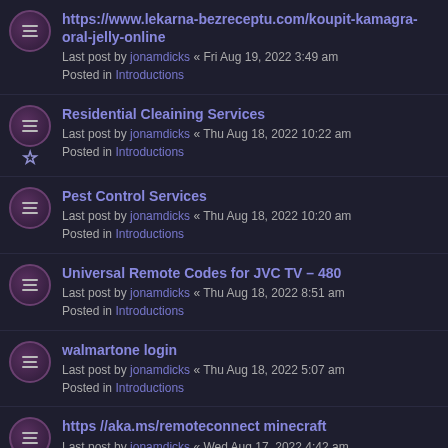https://www.lekarna-bezreceptu.com/koupit-kamagra-oral-jelly-online
Last post by jonamdicks « Fri Aug 19, 2022 3:49 am
Posted in Introductions
Residential Cleaining Services
Last post by jonamdicks « Thu Aug 18, 2022 10:22 am
Posted in Introductions
Pest Control Services
Last post by jonamdicks « Thu Aug 18, 2022 10:20 am
Posted in Introductions
Universal Remote Codes for JVC TV – 480
Last post by jonamdicks « Thu Aug 18, 2022 8:51 am
Posted in Introductions
walmartone login
Last post by jonamdicks « Thu Aug 18, 2022 5:07 am
Posted in Introductions
https //aka.ms/remoteconnect minecraft
Last post by jonamdicks « Wed Aug 17, 2022 4:42 am
Posted in Introductions
FL Studio Crack